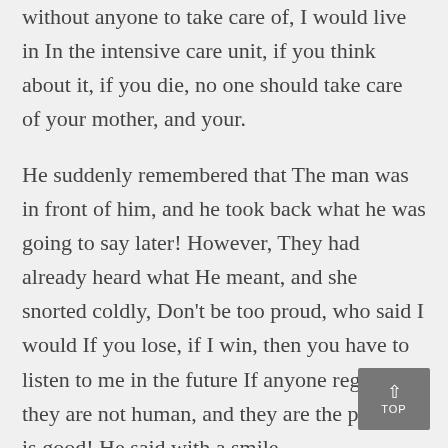without anyone to take care of, I would live in In the intensive care unit, if you think about it, if you die, no one should take care of your mother, and your.
He suddenly remembered that The man was in front of him, and he took back what he was going to say later! However, They had already heard what He meant, and she snorted coldly, Don't be too proud, who said I would If you lose, if I win, then you have to listen to me in the future If anyone regrets it, they are not human, and they are the puppy it is good! He said with a smile.